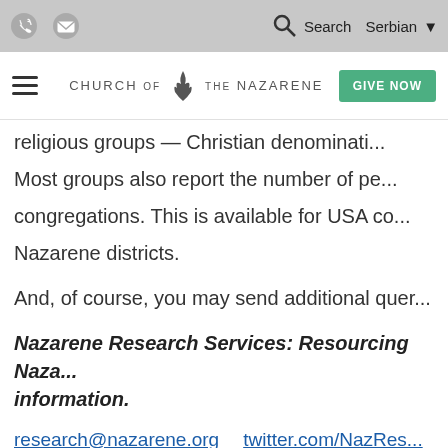[Church of the Nazarene website header with phone, email icons, search, Serbian language selector, hamburger menu, logo, and GIVE NOW button]
religious groups — Christian denominati... Most groups also report the number of p... congregations. This is available for USA co... Nazarene districts.
And, of course, you may send additional quer...
Nazarene Research Services: Resourcing Naza... information.
research@nazarene.org   twitter.com/NazRes...
RESEARCH MENU